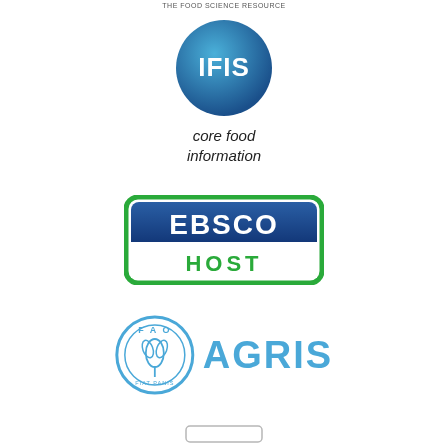[Figure (logo): Partial text at top of page, partially cropped]
[Figure (logo): IFIS core food information logo - blue circular gradient badge with white IFIS text, below which reads 'core food information' in italic dark text]
[Figure (logo): EBSCOhost logo - rectangular badge with green rounded border, upper section dark blue with white EBSCO text, lower section white with green HOST text]
[Figure (logo): FAO AGRIS logo - FAO circular emblem with wheat sheaf and text FIAT PANIS, alongside AGRIS text in blue]
[Figure (logo): Partially visible logo at bottom of page, cropped]